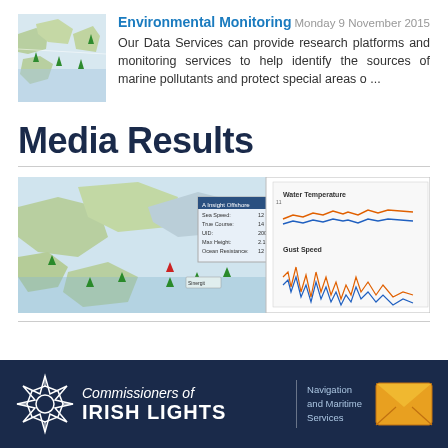[Figure (map): Thumbnail map showing coastal area with green markers]
Environmental Monitoring
Monday 9 November 2015
Our Data Services can provide research platforms and monitoring services to help identify the sources of marine pollutants and protect special areas o ...
Media Results
[Figure (screenshot): Screenshot showing a maritime monitoring map with green vessel markers and a popup info box on the left, and a water temperature and gust speed chart on the right]
[Figure (logo): Commissioners of Irish Lights - Navigation and Maritime Services footer banner with logo and email icon]